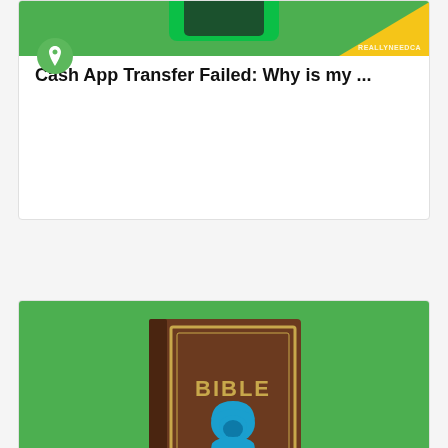[Figure (illustration): Top card image: green and yellow abstract background with a Cash App-style graphic. Partially visible at top of page.]
Cash App Transfer Failed: Why is my ...
[Figure (illustration): Second card image: green background with a brown bible book titled 'BIBLE' and a blue hooded hacker figure with a laptop showing a dollar sign on screen. Yellow triangle in bottom right corner. Watermark 'REALLYNEEDCA' in bottom right.]
Cash App Fraud Bible 2022: Free Fraud ...